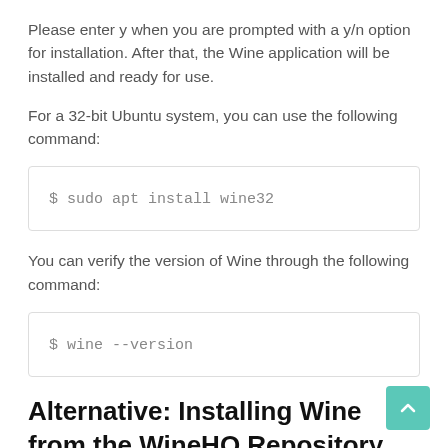Please enter y when you are prompted with a y/n option for installation. After that, the Wine application will be installed and ready for use.
For a 32-bit Ubuntu system, you can use the following command:
$ sudo apt install wine32
You can verify the version of Wine through the following command:
$ wine --version
Alternative: Installing Wine from the WineHQ Repository